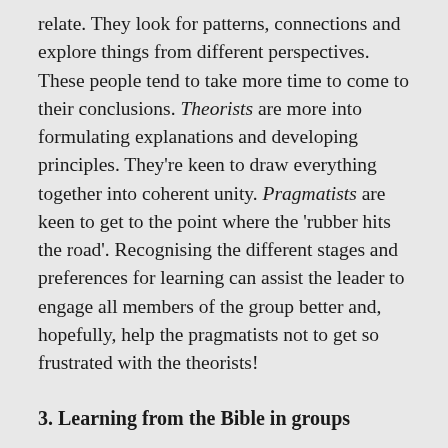relate. They look for patterns, connections and explore things from different perspectives. These people tend to take more time to come to their conclusions. Theorists are more into formulating explanations and developing principles. They're keen to draw everything together into coherent unity. Pragmatists are keen to get to the point where the 'rubber hits the road'. Recognising the different stages and preferences for learning can assist the leader to engage all members of the group better and, hopefully, help the pragmatists not to get so frustrated with the theorists!
3. Learning from the Bible in groups